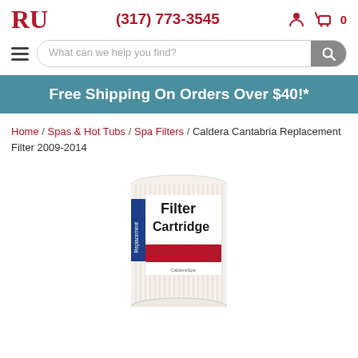RU | (317) 773-3545
What can we help you find?
Free Shipping On Orders Over $40!*
Home / Spas & Hot Tubs / Spa Filters / Caldera Cantabria Replacement Filter 2009-2014
[Figure (photo): Replacement Filter Cartridge product photo showing a cylindrical white pleated filter with a red and blue label reading 'Replacement Filter Cartridge' with CalderaSpa branding]